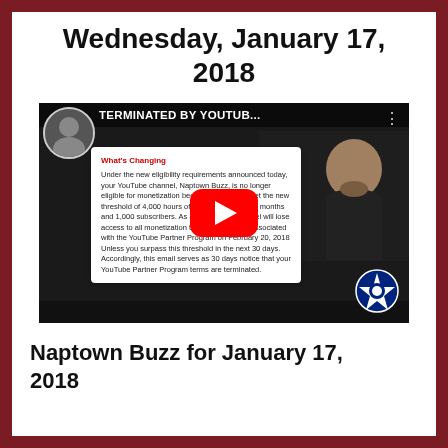Wednesday, January 17, 2018
[Figure (screenshot): YouTube video thumbnail titled 'TERMINATED BY YOUTUB...' showing a YouTube notification email about the Naptown Buzz channel losing monetization eligibility, overlaid on a dark video frame with a man on the right side and an Indianapolis logo in the bottom-right corner. A large red YouTube play button is centered on the thumbnail.]
Naptown Buzz for January 17, 2018